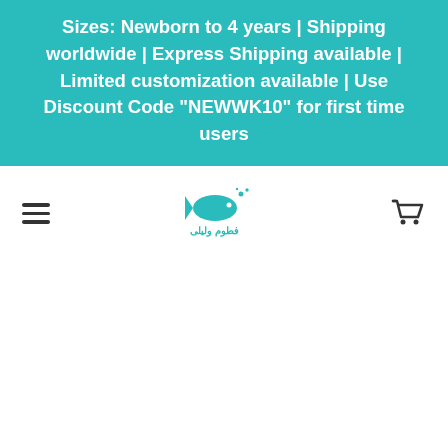Sizes: Newborn to 4 years | Shipping worldwide | Express Shipping available | Limited customization available | Use Discount Code "NEWWK10" for first time users
[Figure (logo): Fish-shaped logo with Arabic script text underneath, in teal/cyan color]
[Figure (illustration): Hamburger menu icon (three horizontal lines) on the left side of the navigation bar]
[Figure (illustration): Shopping cart icon on the right side of the navigation bar]